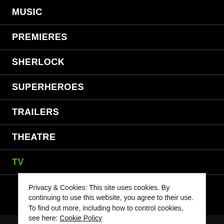MUSIC
PREMIERES
SHERLOCK
SUPERHEROES
TRAILERS
THEATRE
TV
Privacy & Cookies: This site uses cookies. By continuing to use this website, you agree to their use.
To find out more, including how to control cookies, see here: Cookie Policy
Close and accept